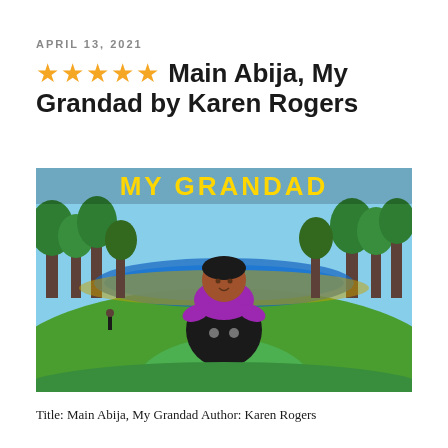APRIL 13, 2021
★★★★★ Main Abija, My Grandad by Karen Rogers
[Figure (illustration): Book cover of 'My Grandad' showing a painted illustration of a child sitting on an adult's shoulders, with a green and blue landscape background with trees and a river. The title 'MY GRANDAD' is shown in bold yellow letters at the top.]
Title: Main Abija, My Grandad Author: Karen Rogers